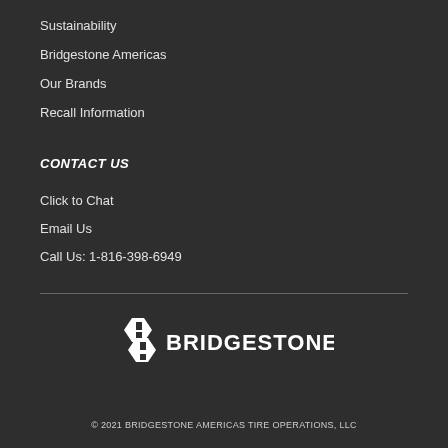Sustainability
Bridgestone Americas
Our Brands
Recall Information
CONTACT US
Click to Chat
Email Us
Call Us: 1-816-398-6949
[Figure (logo): Bridgestone logo in white on dark background]
© 2021 BRIDGESTONE AMERICAS TIRE OPERATIONS, LLC